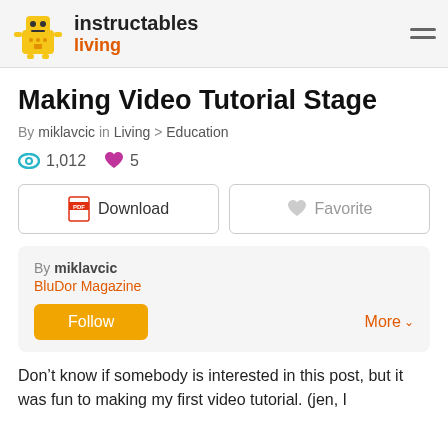instructables living
Making Video Tutorial Stage
By miklavcic in Living > Education
1,012 views  5 favorites
Download  Favorite
By miklavcic
BluDor Magazine
Follow  More
Don’t know if somebody is interested in this post, but it was fun to making my first video tutorial. (jen, I